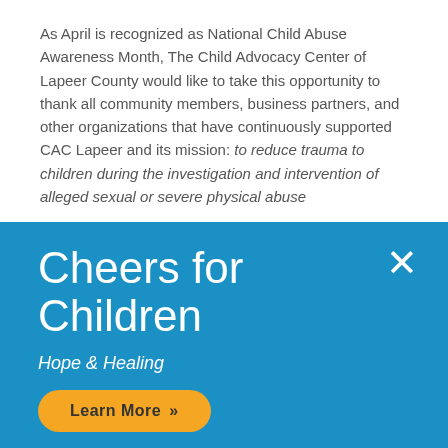As April is recognized as National Child Abuse Awareness Month, The Child Advocacy Center of Lapeer County would like to take this opportunity to thank all community members, business partners, and other organizations that have continuously supported CAC Lapeer and its mission: to reduce trauma to children during the investigation and intervention of alleged sexual or severe physical abuse
Cheers for Children
Hope & Healing
Learn More »